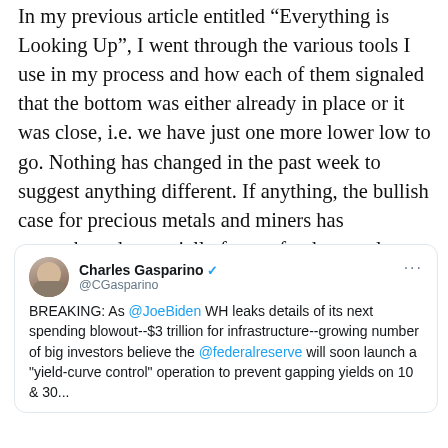In my previous article entitled “Everything is Looking Up”, I went through the various tools I use in my process and how each of them signaled that the bottom was either already in place or it was close, i.e. we have just one more lower low to go. Nothing has changed in the past week to suggest anything different. If anything, the bullish case for precious metals and miners has strengthened, especially from a fundamental perspective.
[Figure (screenshot): Embedded tweet from Charles Gasparino (@CGasparino) with verified badge. Tweet text: BREAKING: As @JoeBiden WH leaks details of its next spending blowout--$3 trillion for infrastructure--growing number of big investors believe the @federalreserve will soon launch a "yield-curve control" operation to prevent gapping yields on 10 & 30...]